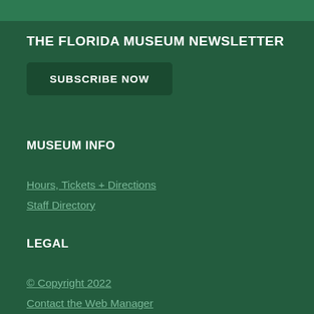THE FLORIDA MUSEUM NEWSLETTER
SUBSCRIBE NOW
MUSEUM INFO
Hours, Tickets + Directions
Staff Directory
LEGAL
© Copyright 2022
Contact the Web Manager
This page uses Google Analytics
Google Privacy Policy
UF Privacy Policy